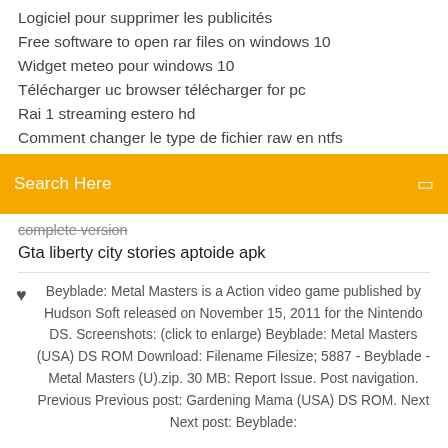Logiciel pour supprimer les publicités
Free software to open rar files on windows 10
Widget meteo pour windows 10
Télécharger uc browser télécharger for pc
Rai 1 streaming estero hd
Comment changer le type de fichier raw en ntfs
Search Here
complete version
Gta liberty city stories aptoide apk
Beyblade: Metal Masters is a Action video game published by Hudson Soft released on November 15, 2011 for the Nintendo DS. Screenshots: (click to enlarge) Beyblade: Metal Masters (USA) DS ROM Download: Filename Filesize; 5887 - Beyblade - Metal Masters (U).zip. 30 MB: Report Issue. Post navigation. Previous Previous post: Gardening Mama (USA) DS ROM. Next Next post: Beyblade: